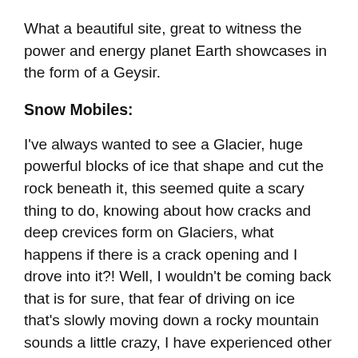What a beautiful site, great to witness the power and energy planet Earth showcases in the form of a Geysir.
Snow Mobiles:
I've always wanted to see a Glacier, huge powerful blocks of ice that shape and cut the rock beneath it, this seemed quite a scary thing to do, knowing about how cracks and deep crevices form on Glaciers, what happens if there is a crack opening and I drove into it?! Well, I wouldn't be coming back that is for sure, that fear of driving on ice that's slowly moving down a rocky mountain sounds a little crazy, I have experienced other extreme sports before, jumping out of a plane at 15,000ft to name some, but this actually felt like a step up from that believe it or not. All I could do is embrace it, so I did, I'm not one to shy away from doing something new, whether I would do that thing